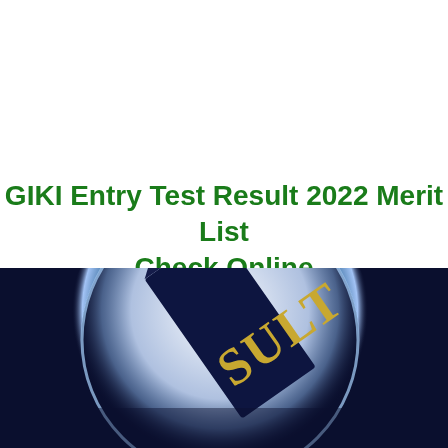GIKI Entry Test Result 2022 Merit List Check Online
[Figure (illustration): Dark navy blue background with a large glowing circular magnifying glass lens (white/light blue illuminated circle outline) overlaid by a pencil or certificate at an angle showing the partial text 'SULT' (part of 'RESULT'), rendered in gold/yellow metallic letters against dark navy background.]